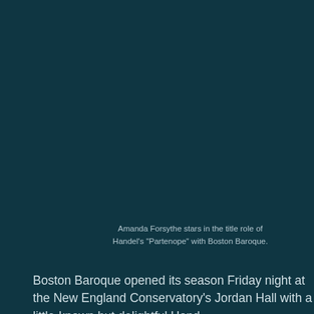[Figure (photo): Large dark teal/dark blue-green background image occupying the upper portion of the page, likely a performance or portrait photo that is very dark and mostly indistinguishable.]
Amanda Forsythe stars in the title role of Handel's "Partenope" with Boston Baroque.
Boston Baroque opened its season Friday night at the New England Conservatory's Jordan Hall with a little-known but delightful Handel